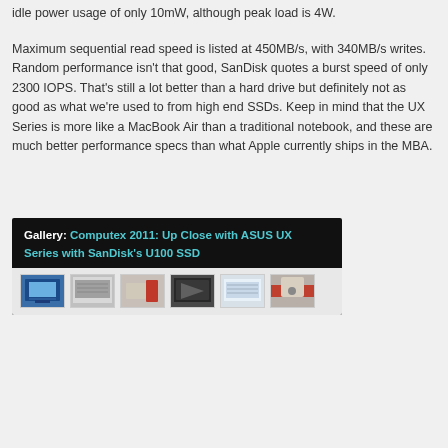idle power usage of only 10mW, although peak load is 4W.
Maximum sequential read speed is listed at 450MB/s, with 340MB/s writes. Random performance isn't that good, SanDisk quotes a burst speed of only 2300 IOPS. That's still a lot better than a hard drive but definitely not as good as what we're used to from high end SSDs. Keep in mind that the UX Series is more like a MacBook Air than a traditional notebook, and these are much better performance specs than what Apple currently ships in the MBA.
[Figure (photo): Gallery box with dark header showing 'Gallery: Computex 2011: Up Close with ASUS UX Series with SanDisk's U100 SSD' and a row of 6 thumbnail photos of the ASUS UX Series laptop.]